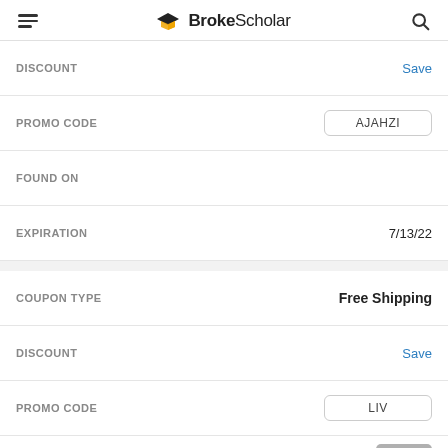BrokeScholar
| Field | Value |
| --- | --- |
| DISCOUNT | Save |
| PROMO CODE | AJAHZI |
| FOUND ON |  |
| EXPIRATION | 7/13/22 |
| COUPON TYPE | Free Shipping |
| DISCOUNT | Save |
| PROMO CODE | LIV |
| FOUND ON |  |
| EXPIRATION | 7/13/22 |